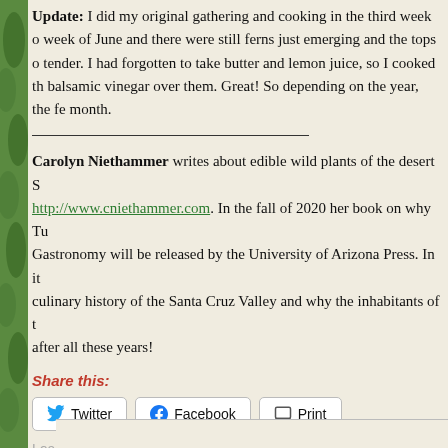Update: I did my original gathering and cooking in the third week of week of June and there were still ferns just emerging and the tops of tender. I had forgotten to take butter and lemon juice, so I cooked the balsamic vinegar over them. Great! So depending on the year, the fe month.
Carolyn Niethammer writes about edible wild plants of the desert S http://www.cniethammer.com. In the fall of 2020 her book on why Tu Gastronomy will be released by the University of Arizona Press. In it culinary history of the Santa Cruz Valley and why the inhabitants of after all these years!
Share this:
[Figure (other): Share buttons: Twitter, Facebook, Print]
Loading...